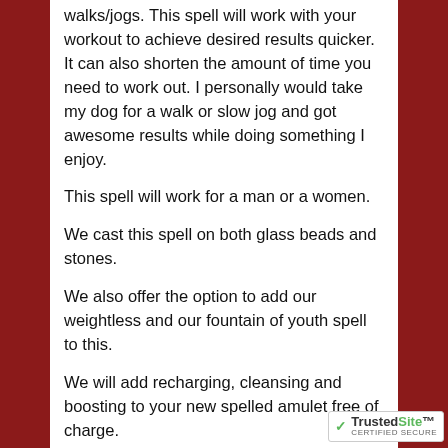walks/jogs. This spell will work with your workout to achieve desired results quicker. It can also shorten the amount of time you need to work out. I personally would take my dog for a walk or slow jog and got awesome results while doing something I enjoy.
This spell will work for a man or a women.
We cast this spell on both glass beads and stones.
We also offer the option to add our weightless and our fountain of youth spell to this.
We will add recharging, cleansing and boosting to your new spelled amulet free of charge.
Please let me know of you have any questions.
Thank you for looking!
[Figure (logo): TrustedSite Certified Secure badge with green checkmark]